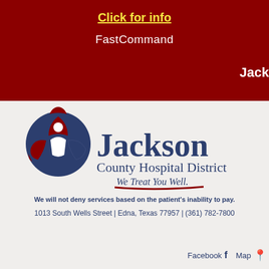Click for info
FastCommand
Jack
[Figure (logo): Jackson County Hospital District logo with circular icon and tagline 'We Treat You Well.']
We will not deny services based on the patient's inability to pay.
1013 South Wells Street | Edna, Texas 77957 | (361) 782-7800
Facebook  f   Map  📍